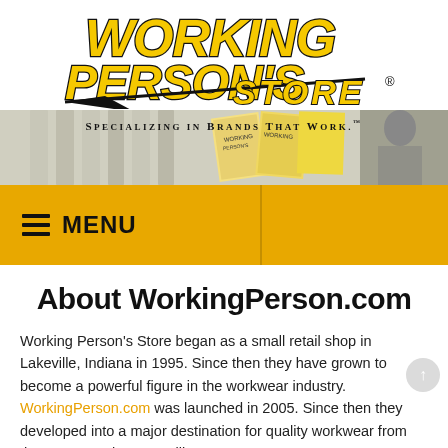[Figure (logo): Working Person's Store logo with yellow italic bold text, black swoosh diagonal line, and tagline 'Specializing in Brands That Work.' with banner showing workers and catalog images]
≡ MENU
About WorkingPerson.com
Working Person's Store began as a small retail shop in Lakeville, Indiana in 1995. Since then they have grown to become a powerful figure in the workwear industry. WorkingPerson.com was launched in 2005. Since then they developed into a major destination for quality workwear from the most popular, top-selling brands. They also...